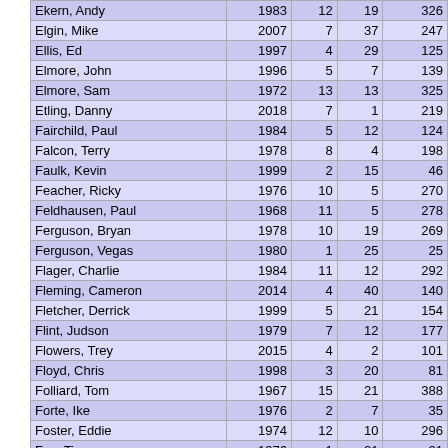| Ekern, Andy | 1983 | 12 | 19 | 326 |
| Elgin, Mike | 2007 | 7 | 37 | 247 |
| Ellis, Ed | 1997 | 4 | 29 | 125 |
| Elmore, John | 1996 | 5 | 7 | 139 |
| Elmore, Sam | 1972 | 13 | 13 | 325 |
| Etling, Danny | 2018 | 7 | 1 | 219 |
| Fairchild, Paul | 1984 | 5 | 12 | 124 |
| Falcon, Terry | 1978 | 8 | 4 | 198 |
| Faulk, Kevin | 1999 | 2 | 15 | 46 |
| Feacher, Ricky | 1976 | 10 | 5 | 270 |
| Feldhausen, Paul | 1968 | 11 | 5 | 278 |
| Ferguson, Bryan | 1978 | 10 | 19 | 269 |
| Ferguson, Vegas | 1980 | 1 | 25 | 25 |
| Flager, Charlie | 1984 | 11 | 12 | 292 |
| Fleming, Cameron | 2014 | 4 | 40 | 140 |
| Fletcher, Derrick | 1999 | 5 | 21 | 154 |
| Flint, Judson | 1979 | 7 | 12 | 177 |
| Flowers, Trey | 2015 | 4 | 2 | 101 |
| Floyd, Chris | 1998 | 3 | 20 | 81 |
| Folliard, Tom | 1967 | 15 | 21 | 388 |
| Forte, Ike | 1976 | 2 | 7 | 35 |
| Foster, Eddie | 1974 | 12 | 10 | 296 |
| Fox, Tim | 1976 | 1 | 21 | 21 |
| Francis, Russ | 1975 | 1 | 16 | 16 |
| Freeman, Steve | 1975 | 5 | 13 | 117 |
| Froholdt, Hjalte | 2019 | 4 | 16 | 118 |
| Fryar, Irving | 1984 | 1 | 1 | 1 |
| Fulton, Charley | 1968 | 16 | 5 | 413 |
| Funchess, Tom | 1968 | 2 | 5 | 32 |
| Fussell, Tom | 1967 | 8 | 21 | 206 |
| Gaber, Tom | 1967 | 4 | 21 | 115 |